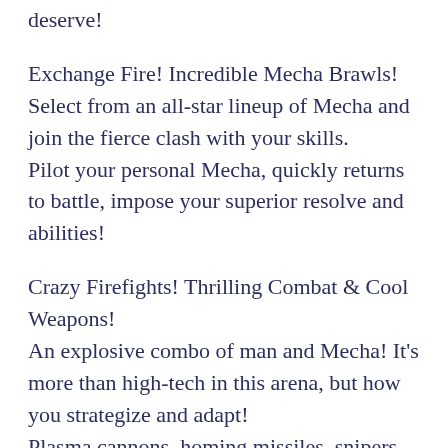deserve!
Exchange Fire! Incredible Mecha Brawls! Select from an all-star lineup of Mecha and join the fierce clash with your skills.
Pilot your personal Mecha, quickly returns to battle, impose your superior resolve and abilities!
Crazy Firefights! Thrilling Combat & Cool Weapons! An explosive combo of man and Mecha! It's more than high-tech in this arena, but how you strategize and adapt!
Plasma cannons, homing missiles, snipers, flamethrowers... Get a load of the ultra-cool weapons at your disposal!
Man vs. man, Mecha vs. Mecha... All new exciting